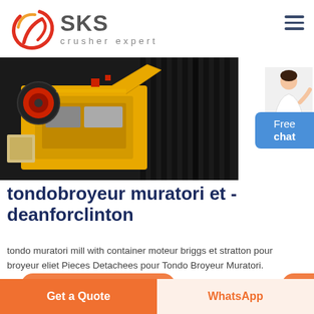[Figure (logo): SKS Crusher Expert logo — red circular brush-stroke symbol on left, grey bold SKS text with 'crusher expert' subtitle]
[Figure (photo): Yellow industrial jaw crusher machine photographed up close against dark metal background]
[Figure (photo): Woman in white shirt gesturing, adjacent to blue Free chat button]
tondobroyeur muratori et - deanforclinton
tondo muratori mill with container moteur briggs et stratton pour broyeur eliet Pieces Detachees pour Tondo Broyeur Muratori.
Get a Quote
WhatsApp